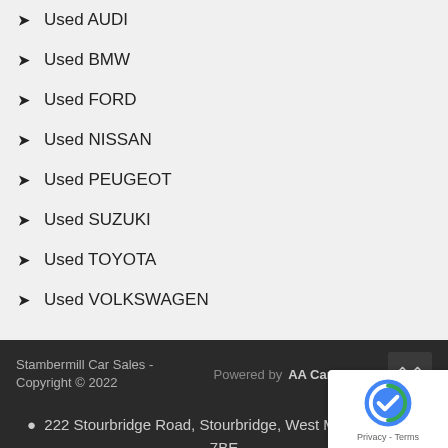Used AUDI
Used BMW
Used FORD
Used NISSAN
Used PEUGEOT
Used SUZUKI
Used TOYOTA
Used VOLKSWAGEN
Stambermill Car Sales - Copyright © 2022 | Powered by AA Cars | DNA | 222 Stourbridge Road, Stourbridge, West Midlands, DY9 7BE